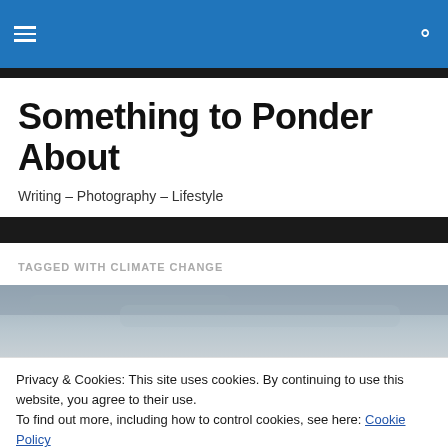Navigation menu and search
Something to Ponder About
Writing – Photography – Lifestyle
TAGGED WITH CLIMATE CHANGE
[Figure (photo): Overcast grey sky landscape photo]
Privacy & Cookies: This site uses cookies. By continuing to use this website, you agree to their use.
To find out more, including how to control cookies, see here: Cookie Policy
[Figure (photo): Dark landscape photo at bottom]